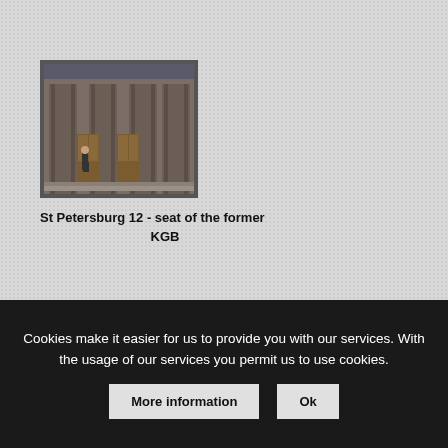[Figure (photo): Photograph of a large stone building facade with tall columns and wooden doors, a person standing in front. Caption identifies it as St Petersburg 12, seat of the former KGB.]
St Petersburg 12 - seat of the former KGB
Cookies make it easier for us to provide you with our services. With the usage of our services you permit us to use cookies.